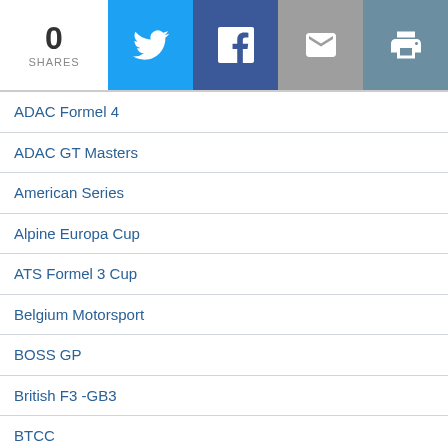0 SHARES
ADAC Formel 4
ADAC GT Masters
American Series
Alpine Europa Cup
ATS Formel 3 Cup
Belgium Motorsport
BOSS GP
British F3 -GB3
BTCC
Canada Race Series
Clio Cup
DMV GTC
Drifting-Drag
DTC ADAC Procar
DTM-Series
Electric Car Racing Series
Esports-ESL-SIM